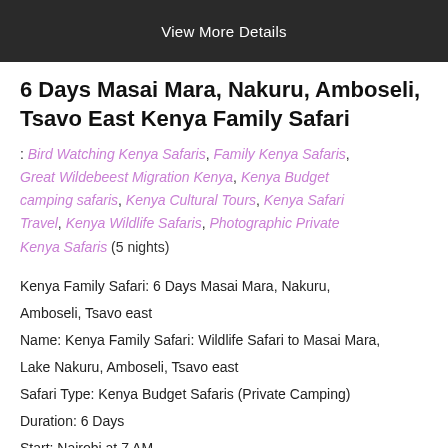[Figure (photo): Dark banner image with text 'View More Details']
6 Days Masai Mara, Nakuru, Amboseli, Tsavo East Kenya Family Safari
: Bird Watching Kenya Safaris, Family Kenya Safaris, Great Wildebeest Migration Kenya, Kenya Budget camping safaris, Kenya Cultural Tours, Kenya Safari Travel, Kenya Wildlife Safaris, Photographic Private Kenya Safaris (5 nights)
Kenya Family Safari: 6 Days Masai Mara, Nakuru, Amboseli, Tsavo east
Name: Kenya Family Safari: Wildlife Safari to Masai Mara, Lake Nakuru, Amboseli, Tsavo east
Safari Type: Kenya Budget Safaris (Private Camping)
Duration: 6 Days
Start: Nairobi at 7 AM
End: Nairobi at 4 PM
Safari Highlights